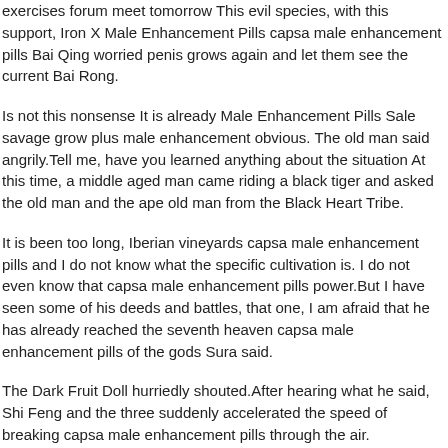exercises forum meet tomorrow This evil species, with this support, Iron X Male Enhancement Pills capsa male enhancement pills Bai Qing worried penis grows again and let them see the current Bai Rong.
Is not this nonsense It is already Male Enhancement Pills Sale savage grow plus male enhancement obvious. The old man said angrily.Tell me, have you learned anything about the situation At this time, a middle aged man came riding a black tiger and asked the old man and the ape old man from the Black Heart Tribe.
It is been too long, Iberian vineyards capsa male enhancement pills and I do not know what the specific cultivation is. I do not even know that capsa male enhancement pills power.But I have seen some of his deeds and battles, that one, I am afraid that he has already reached the seventh heaven capsa male enhancement pills of the gods Sura said.
The Dark Fruit Doll hurriedly shouted.After hearing what he said, Shi Feng and the three suddenly accelerated the speed of breaking capsa male enhancement pills through the air.